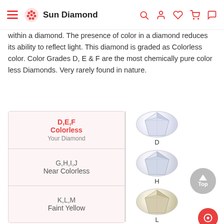Sun Diamond
within a diamond. The presence of color in a diamond reduces its ability to reflect light. This diamond is graded as Colorless color. Color Grades D, E & F are the most chemically pure color less Diamonds. Very rarely found in nature.
[Figure (infographic): Diamond color grade chart showing three categories: D,E,F Colorless (Your Diamond), G,H,I,J Near Colorless, and K,L,M Faint Yellow, each with a diamond photo labeled D, H, and L respectively. A red arrow points from the selected D,E,F Colorless row to the diamond image.]